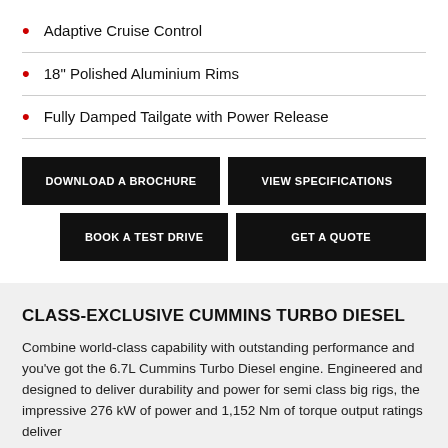Adaptive Cruise Control
18" Polished Aluminium Rims
Fully Damped Tailgate with Power Release
DOWNLOAD A BROCHURE
VIEW SPECIFICATIONS
BOOK A TEST DRIVE
GET A QUOTE
CLASS-EXCLUSIVE CUMMINS TURBO DIESEL
Combine world-class capability with outstanding performance and you’ve got the 6.7L Cummins Turbo Diesel engine. Engineered and designed to deliver durability and power for semi class big rigs, the impressive 276 kW of power and 1,152 Nm of torque output ratings deliver